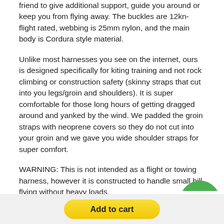friend to give additional support, guide you around or keep you from flying away. The buckles are 12kn-flight rated, webbing is 25mm nylon, and the main body is Cordura style material.
Unlike most harnesses you see on the internet, ours is designed specifically for kiting training and not rock climbing or construction safety (skinny straps that cut into you legs/groin and shoulders). It is super comfortable for those long hours of getting dragged around and yanked by the wind. We padded the groin straps with neoprene covers so they do not cut into your groin and we gave you wide shoulder straps for super comfort.
WARNING: This is not intended as a flight or towing harness, however it is constructed to handle small hill flying without heavy loads.
[Figure (logo): Green semicircle/arch icon partially visible in bottom right corner]